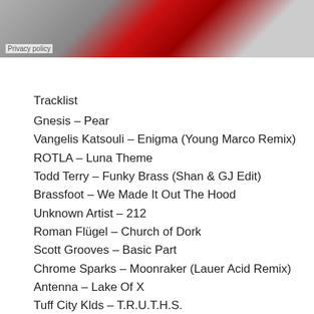[Figure (photo): Partial image showing red and grey abstract shapes, possibly album artwork, with a Privacy policy label overlay in the bottom left.]
Tracklist
Gnesis – Pear
Vangelis Katsouli – Enigma (Young Marco Remix)
ROTLA – Luna Theme
Todd Terry – Funky Brass (Shan & GJ Edit)
Brassfoot – We Made It Out The Hood
Unknown Artist – 212
Roman Flügel – Church of Dork
Scott Grooves – Basic Part
Chrome Sparks – Moonraker (Lauer Acid Remix)
Antenna – Lake Of X
Tuff City Klds – T.R.U.T.H.S.
Machinegewehr – The Unforgiven